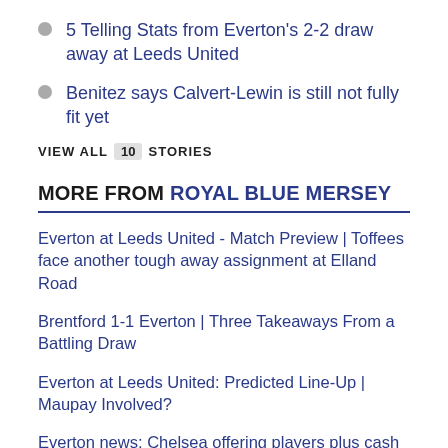5 Telling Stats from Everton's 2-2 draw away at Leeds United
Benitez says Calvert-Lewin is still not fully fit yet
VIEW ALL 10 STORIES
MORE FROM ROYAL BLUE MERSEY
Everton at Leeds United - Match Preview | Toffees face another tough away assignment at Elland Road
Brentford 1-1 Everton | Three Takeaways From a Battling Draw
Everton at Leeds United: Predicted Line-Up | Maupay Involved?
Everton news: Chelsea offering players plus cash for Gordon, new stadium footage
Brentford 1-1 Everton: Final | Blues yield equalizer late on
Brentford 1-1 Everton: Instant Reaction | Fortunate Blues